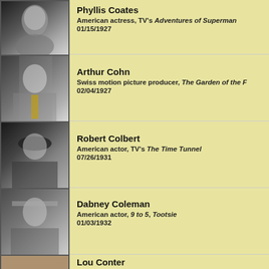[Figure (photo): Black and white photo of Phyllis Coates]
Phyllis Coates
American actress, TV's Adventures of Superman
01/15/1927
[Figure (photo): Photo of Arthur Cohn in suit with yellow tie]
Arthur Cohn
Swiss motion picture producer, The Garden of the F...
02/04/1927
[Figure (photo): Photo of Robert Colbert wearing hat]
Robert Colbert
American actor, TV's The Time Tunnel
07/26/1931
[Figure (photo): Black and white photo of Dabney Coleman]
Dabney Coleman
American actor, 9 to 5, Tootsie
01/03/1932
[Figure (photo): Color photo of Lou Conter with hat and lei]
Lou Conter